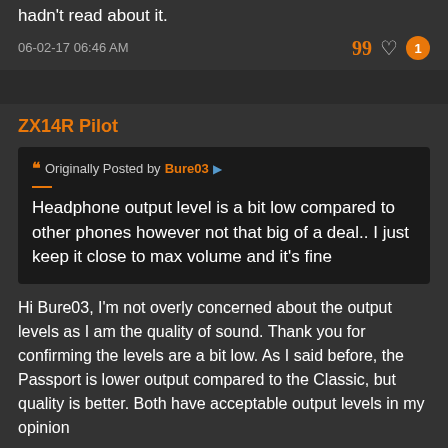hadn't read about it.
06-02-17 06:46 AM
ZX14R Pilot
Originally Posted by Bure03
Headphone output level is a bit low compared to other phones however not that big of a deal.. I just keep it close to max volume and it's fine
Hi Bure03, I'm not overly concerned about the output levels as I am the quality of sound. Thank you for confirming the levels are a bit low. As I said before, the Passport is lower output compared to the Classic, but quality is better. Both have acceptable output levels in my opinion
Posted via CB10
06-02-17 07:29 AM